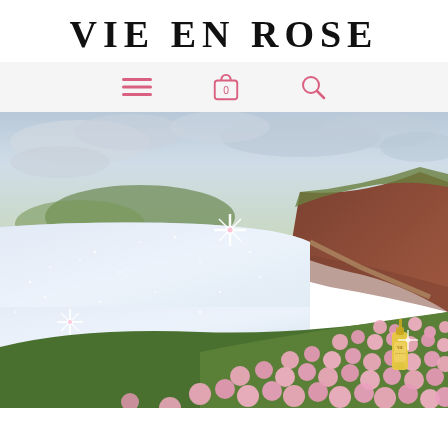VIE EN ROSE
[Figure (infographic): Navigation bar with hamburger menu icon, shopping bag icon with 0 badge, and search/magnifier icon, all in pink/rose color on light grey background]
[Figure (photo): Coastal landscape photo with sparkling glittery sea on the left, pink wildflowers (sea thrift) in the foreground on the right, red cliffs, cloudy sky, and a product bottle (VIE EN ROSE) visible among the flowers. Sparkle/glitter light effects overlay the sea.]